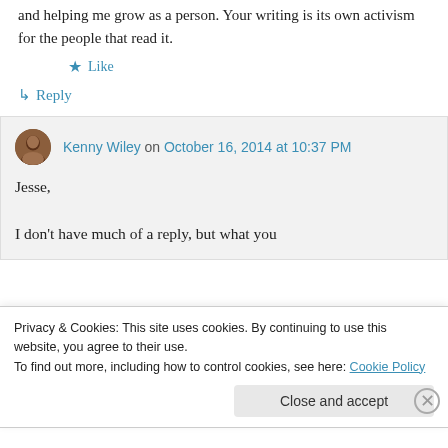and helping me grow as a person. Your writing is its own activism for the people that read it.
★ Like
↳ Reply
Kenny Wiley on October 16, 2014 at 10:37 PM
Jesse,

I don't have much of a reply, but what you
Privacy & Cookies: This site uses cookies. By continuing to use this website, you agree to their use.
To find out more, including how to control cookies, see here: Cookie Policy